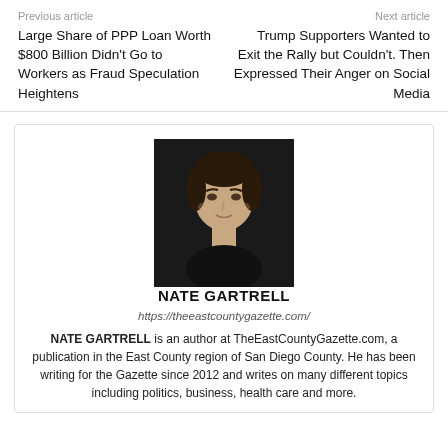Previous article
Next article
Large Share of PPP Loan Worth $800 Billion Didn't Go to Workers as Fraud Speculation Heightens
Trump Supporters Wanted to Exit the Rally but Couldn't. Then Expressed Their Anger on Social Media
[Figure (photo): Headshot photo of Nate Gartrell, a young man with dark hair against a dark background]
NATE GARTRELL
https://theeastcountygazette.com/
NATE GARTRELL is an author at TheEastCountyGazette.com, a publication in the East County region of San Diego County. He has been writing for the Gazette since 2012 and writes on many different topics including politics, business, health care and more.